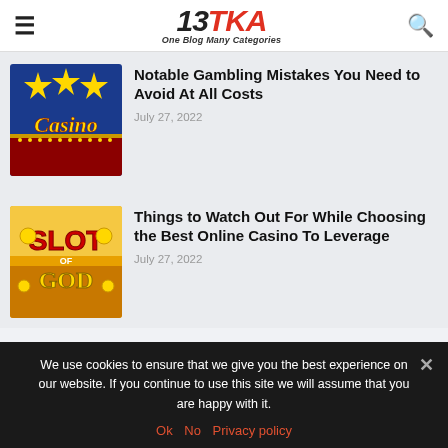13TKA — One Blog Many Categories
[Figure (screenshot): Casino themed thumbnail image with stars and 'Casino' text on blue/red background]
Notable Gambling Mistakes You Need to Avoid At All Costs
July 27, 2022
[Figure (screenshot): Slot God themed thumbnail image with colorful slot game graphics and 'SLOT GOD' text]
Things to Watch Out For While Choosing the Best Online Casino To Leverage
July 27, 2022
We use cookies to ensure that we give you the best experience on our website. If you continue to use this site we will assume that you are happy with it.
Ok   No   Privacy policy